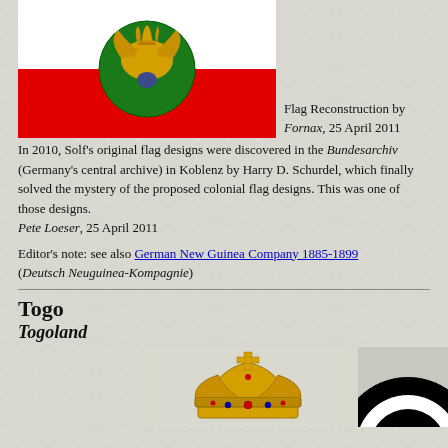[Figure (illustration): Flag with white top half and red bottom half, with a green circular emblem centered showing a golden bird/eagle design]
Flag Reconstruction by Fornax, 25 April 2011
In 2010, Solf's original flag designs were discovered in the Bundesarchiv (Germany's central archive) in Koblenz by Harry D. Schurdel, which finally solved the mystery of the proposed colonial flag designs. This was one of those designs.
Pete Loeser, 25 April 2011
Editor's note: see also German New Guinea Company 1885-1899 (Deutsch Neuguinea-Kompagnie)
Togo
Togoland
[Figure (illustration): Golden crown illustration]
[Figure (illustration): Black and white circular design, partially visible]